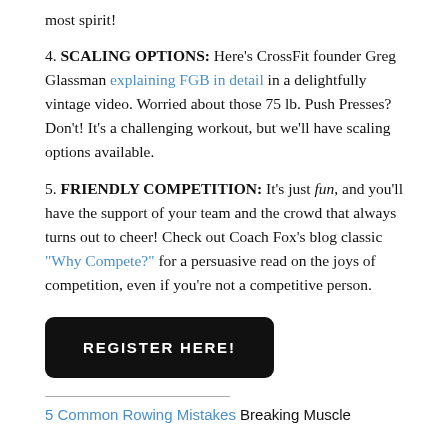most spirit!
4. SCALING OPTIONS: Here's CrossFit founder Greg Glassman explaining FGB in detail in a delightfully vintage video. Worried about those 75 lb. Push Presses? Don't! It's a challenging workout, but we'll have scaling options available.
5. FRIENDLY COMPETITION: It's just fun, and you'll have the support of your team and the crowd that always turns out to cheer! Check out Coach Fox's blog classic "Why Compete?" for a persuasive read on the joys of competition, even if you're not a competitive person.
REGISTER HERE!
5 Common Rowing Mistakes Breaking Muscle